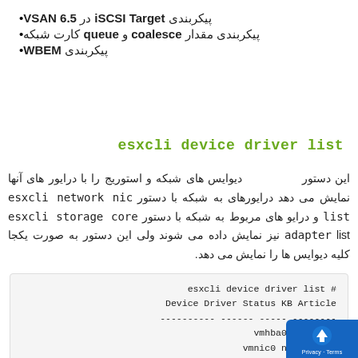پیکربندی iSCSI Target در VSAN 6.5
پیکربندی مقدار coalesce و queue کارت شبکه
پیکربندی WBEM
esxcli device driver list
این دستور دیوایس های شبکه و استوریج را با درایور های آنها نمایش می دهد درایورهای به شبکه با دستور esxcli network nic list و درایو های مربوط به شبکه با دستور esxcli storage core adapter list نیز نمایش داده می شوند ولی این دستور به صورت یکجا کلیه دیوایس ها را نمایش می دهد.
esxcli device driver list #
Device Driver Status KB Article
---------- ------ ----- --------
vmhba0 nvme no...
vmnic0 ne1000 no...
vmhba32 vmkusb no...